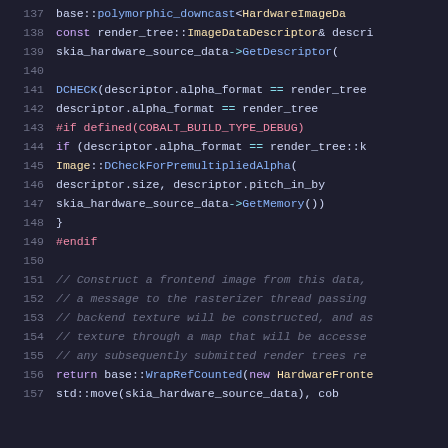[Figure (screenshot): Source code screenshot showing C++ code lines 137-157 with syntax highlighting on a dark background. Colors indicate keywords (purple), function calls (blue), preprocessor directives (red/pink), comments (gray italic), operators (cyan), and plain text (light).]